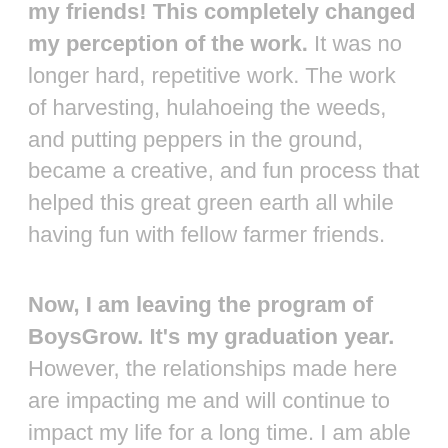my friends! This completely changed my perception of the work. It was no longer hard, repetitive work. The work of harvesting, hulahoeing the weeds, and putting peppers in the ground, became a creative, and fun process that helped this great green earth all while having fun with fellow farmer friends.
Now, I am leaving the program of BoysGrow. It's my graduation year. However, the relationships made here are impacting me and will continue to impact my life for a long time. I am able to talk a heck of a lot easier to random stranger or potential customers, as well as just generally communicate because of these friends and